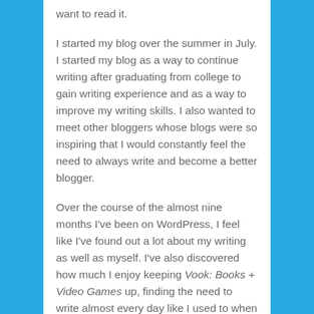want to read it.
I started my blog over the summer in July. I started my blog as a way to continue writing after graduating from college to gain writing experience and as a way to improve my writing skills. I also wanted to meet other bloggers whose blogs were so inspiring that I would constantly feel the need to always write and become a better blogger.
Over the course of the almost nine months I've been on WordPress, I feel like I've found out a lot about my writing as well as myself. I've also discovered how much I enjoy keeping Vook: Books + Video Games up, finding the need to write almost every day like I used to when I was younger. I've discovered I love blogging and want it to become a big part of my life, possibly a big part of my career.
And I owe it all to my viewers. While I know I'm not the most active blogger on WordPress, I try the best I